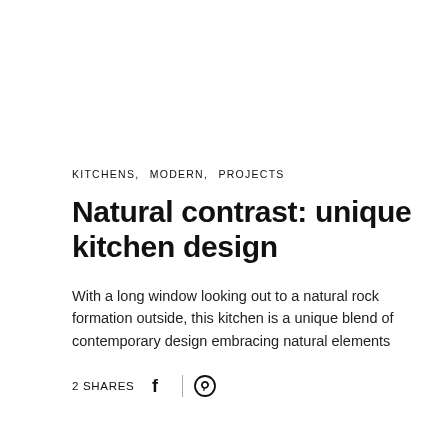KITCHENS,  MODERN,  PROJECTS
Natural contrast: unique kitchen design
With a long window looking out to a natural rock formation outside, this kitchen is a unique blend of contemporary design embracing natural elements
2 SHARES